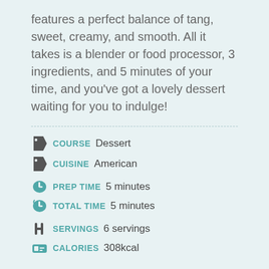features a perfect balance of tang, sweet, creamy, and smooth. All it takes is a blender or food processor, 3 ingredients, and 5 minutes of your time, and you've got a lovely dessert waiting for you to indulge!
COURSE  Dessert
CUISINE  American
PREP TIME  5 minutes
TOTAL TIME  5 minutes
SERVINGS  6 servings
CALORIES  308kcal
EQUIPMENT
Food Processor (see review about Best